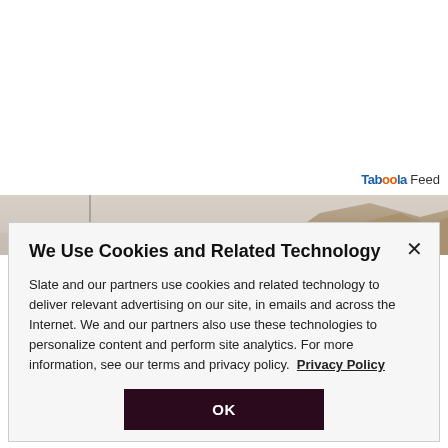[Figure (photo): Landscape photo showing a desert mountain/rocky hillside on the right with a pale sky and a thin vertical pole or tower on the left side.]
We Use Cookies and Related Technology
Slate and our partners use cookies and related technology to deliver relevant advertising on our site, in emails and across the Internet. We and our partners also use these technologies to personalize content and perform site analytics. For more information, see our terms and privacy policy.  Privacy Policy
OK